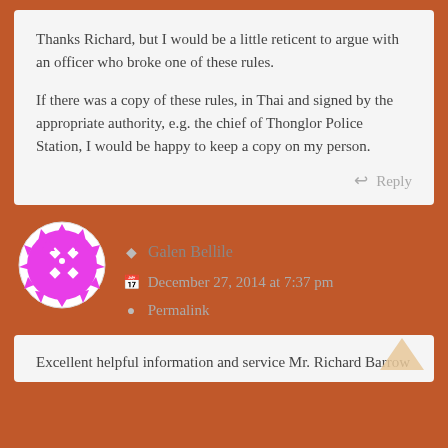Thanks Richard, but I would be a little reticent to argue with an officer who broke one of these rules.

If there was a copy of these rules, in Thai and signed by the appropriate authority, e.g. the chief of Thonglor Police Station, I would be happy to keep a copy on my person.
Reply
[Figure (illustration): Magenta/pink geometric avatar icon in a circle — a stylized face with diamond/dot pattern]
Galen Bellile
December 27, 2014 at 7:37 pm
Permalink
Excellent helpful information and service Mr. Richard Barrow